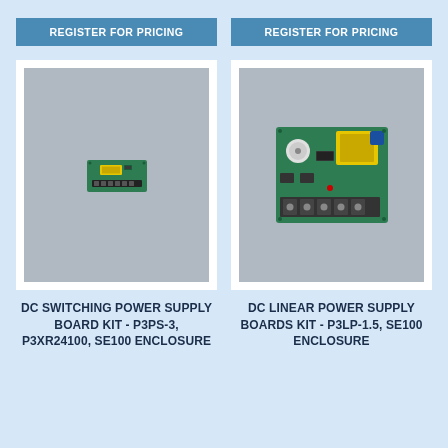REGISTER FOR PRICING
REGISTER FOR PRICING
[Figure (photo): Small green DC switching power supply board kit (P3PS-3, P3XR24100) on gray background]
[Figure (photo): Larger green DC linear power supply board kit (P3LP-1.5) with yellow transformer and terminal blocks on gray background]
DC SWITCHING POWER SUPPLY BOARD KIT - P3PS-3, P3XR24100, SE100 ENCLOSURE
DC LINEAR POWER SUPPLY BOARDS KIT - P3LP-1.5, SE100 ENCLOSURE